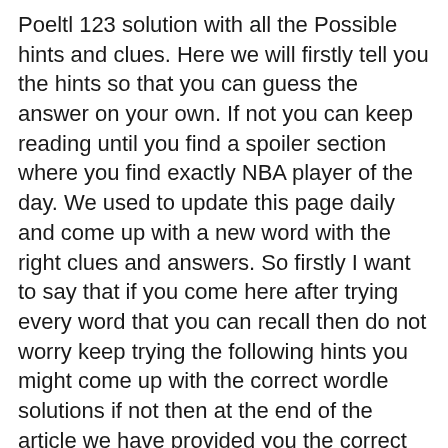Poeltl 123 solution with all the Possible hints and clues. Here we will firstly tell you the hints so that you can guess the answer on your own. If not you can keep reading until you find a spoiler section where you find exactly NBA player of the day. We used to update this page daily and come up with a new word with the right clues and answers. So firstly I want to say that if you come here after trying every word that you can recall then do not worry keep trying the following hints you might come up with the correct wordle solutions if not then at the end of the article we have provided you the correct NBA players today solution with meaning.
Read more